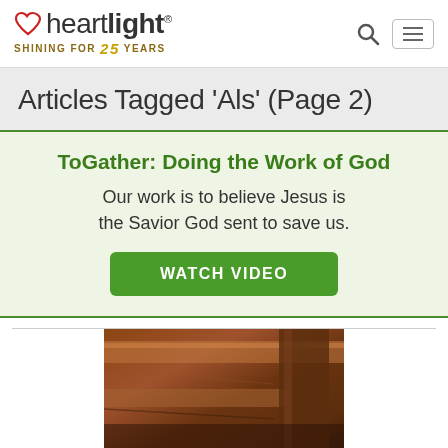heartlight® — SHINING FOR 25 YEARS
Articles Tagged 'Als' (Page 2)
ToGather: Doing the Work of God — Our work is to believe Jesus is the Savior God sent to save us. WATCH VIDEO
[Figure (photo): Close-up photo of wooden church pews, showing dark brown wood grain and bench backs]